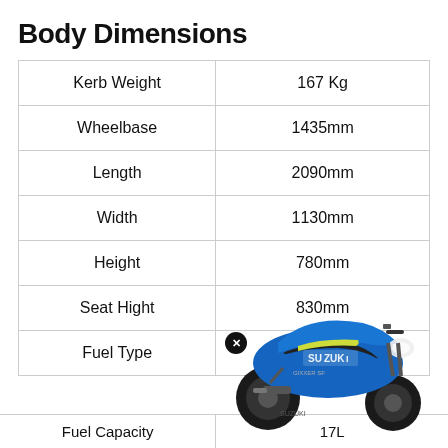Body Dimensions
| Specification | Value |
| --- | --- |
| Kerb Weight | 167 Kg |
| Wheelbase | 1435mm |
| Length | 2090mm |
| Width | 1130mm |
| Height | 780mm |
| Seat Hight | 830mm |
| Fuel Type |  |
| Fuel Capacity | 17L |
[Figure (photo): Blue Suzuki Gixxer SF motorcycle shown from the left side, positioned over the table rows for Seat Hight and Fuel Type.]